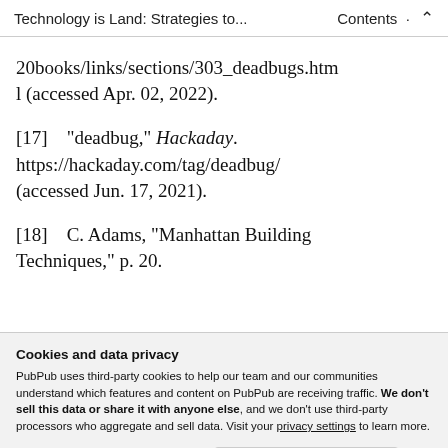Technology is Land: Strategies to...   Contents  ↑
20books/links/sections/303_deadbugs.html (accessed Apr. 02, 2022).
[17]   "deadbug," Hackaday. https://hackaday.com/tag/deadbug/ (accessed Jun. 17, 2021).
[18]   C. Adams, "Manhattan Building Techniques," p. 20.
Cookies and data privacy
PubPub uses third-party cookies to help our team and our communities understand which features and content on PubPub are receiving traffic. We don't sell this data or share it with anyone else, and we don't use third-party processors who aggregate and sell data. Visit your privacy settings to learn more.
traditions and genealogies," presented at